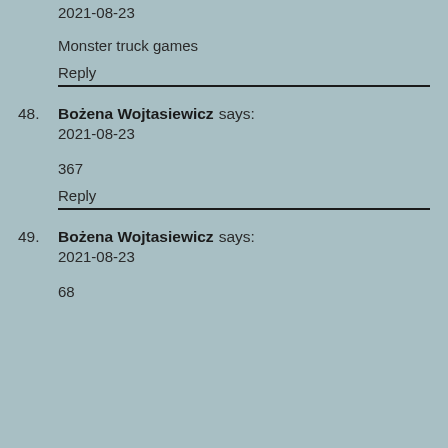2021-08-23
Monster truck games
Reply
48. Bożena Wojtasiewicz says: 2021-08-23
367
Reply
49. Bożena Wojtasiewicz says: 2021-08-23
68